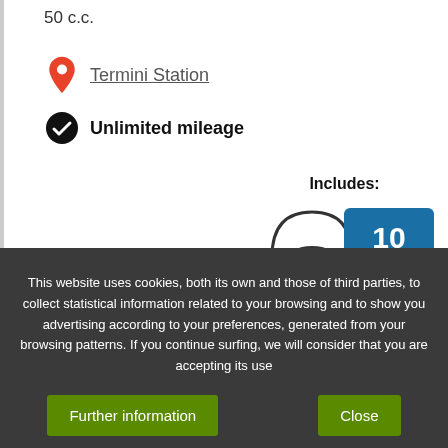50 c.c.
Termini Station
Unlimited mileage
Includes:
[Figure (illustration): Icons showing two helmets, a lock, and a scooter/motorcycle]
10
Excellent!
This website uses cookies, both its own and those of third parties, to collect statistical information related to your browsing and to show you advertising according to your preferences, generated from your browsing patterns. If you continue surfing, we will consider that you are accepting its use
Further information
Close